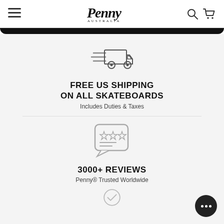Penny Australia
[Figure (illustration): Delivery truck icon with motion lines, outline style in dark gray]
FREE US SHIPPING ON ALL SKATEBOARDS
Includes Duties & Taxes
[Figure (illustration): Speech bubble icon with three stars and two lines, outline style in gray]
3000+ REVIEWS
Penny® Trusted Worldwide
[Figure (illustration): Checkmark circle icon, outline style in gray (partially visible at bottom)]